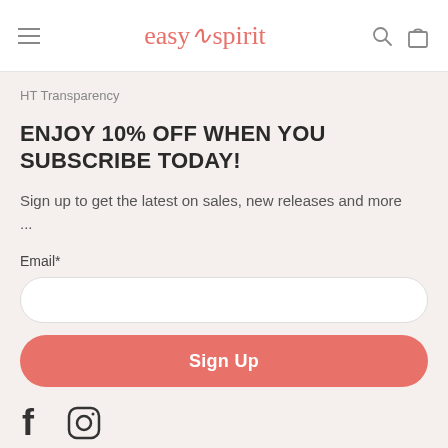easy spirit
HT Transparency
ENJOY 10% OFF WHEN YOU SUBSCRIBE TODAY!
Sign up to get the latest on sales, new releases and more ...
Email*
[Figure (other): Email input field (white rounded rectangle)]
[Figure (other): Sign Up button (salmon/coral rounded rectangle with white text)]
[Figure (other): Social media icons: Facebook (f) and Instagram (camera icon)]